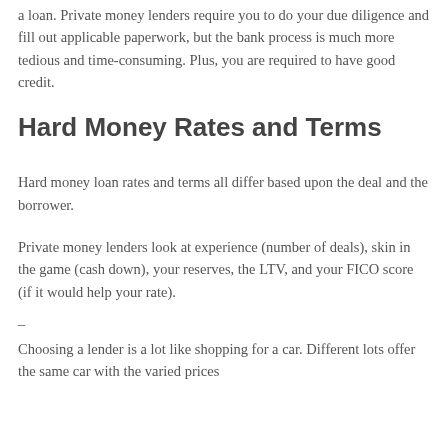a loan. Private money lenders require you to do your due diligence and fill out applicable paperwork, but the bank process is much more tedious and time-consuming. Plus, you are required to have good credit.
Hard Money Rates and Terms
Hard money loan rates and terms all differ based upon the deal and the borrower.
Private money lenders look at experience (number of deals), skin in the game (cash down), your reserves, the LTV, and your FICO score (if it would help your rate).
–
Choosing a lender is a lot like shopping for a car. Different lots offer the same car with the varied prices